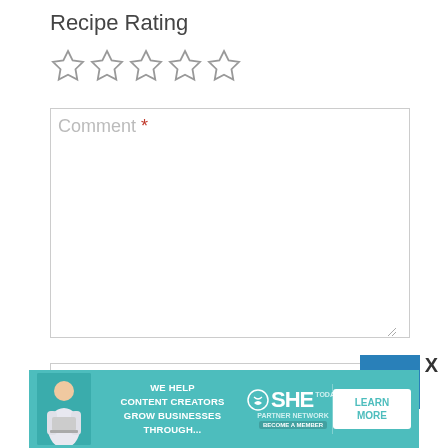Recipe Rating
[Figure (other): Five empty star rating icons in a row]
[Figure (screenshot): Comment text area form field with placeholder text 'Comment *' and resize handle]
[Figure (screenshot): Name text input field with placeholder 'Name *' and reCAPTCHA badge, with X close button]
[Figure (infographic): SHE Media Partner Network advertisement banner: woman with laptop, text 'We help content creators grow businesses through...' SHE Today logo, PARTNER NETWORK BECOME A MEMBER, LEARN MORE button]